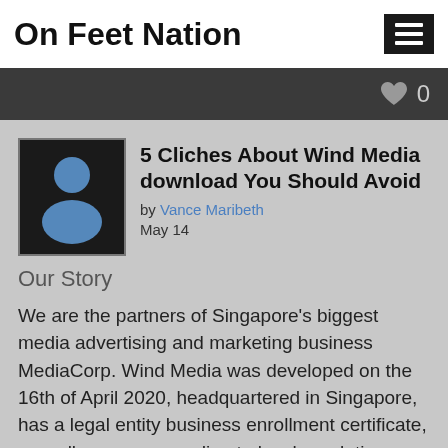On Feet Nation
5 Cliches About Wind Media download You Should Avoid
by Vance Maribeth
May 14
Our Story
We are the partners of Singapore's biggest media advertising and marketing business MediaCorp. Wind Media was developed on the 16th of April 2020, headquartered in Singapore, has a legal entity business enrollment certificate, as well as runs according to local regulations. The business operates in the Netherlands, Singapore, France, Belgium, the UK, Germany, Denmark, Norway, Iceland, the United States, Canada, Mexico, China, Japan, South Korea, Malaysia, more than 70